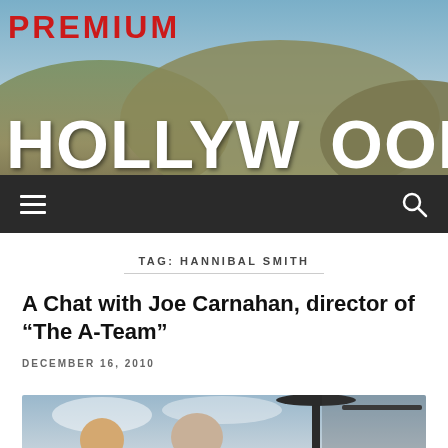[Figure (photo): Hollywood sign on a hillside with blue sky; 'PREMIUM' text overlay in red at top left]
≡   🔍
TAG: HANNIBAL SMITH
A Chat with Joe Carnahan, director of “The A-Team”
DECEMBER 16, 2010
[Figure (photo): Two men on a film set near a helicopter, outdoors with cloudy sky]